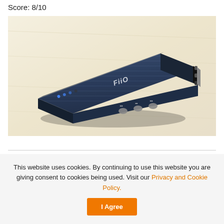Score: 8/10
[Figure (photo): FiiO branded portable audio device (DAC/amplifier) in blue/black finish, lying flat on a light wood surface. The device has brushed aluminum blue top panel with FiiO logo, LED indicators on the side, and three physical buttons on the bottom edge.]
This website uses cookies. By continuing to use this website you are giving consent to cookies being used. Visit our Privacy and Cookie Policy.
I Agree